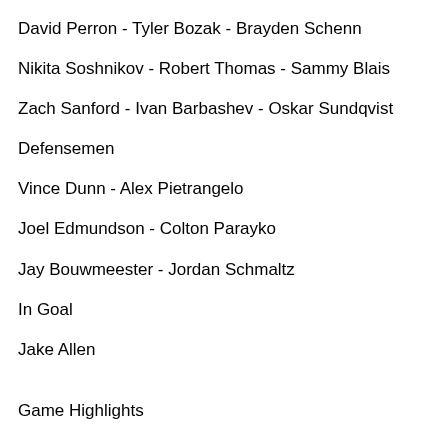David Perron - Tyler Bozak - Brayden Schenn
Nikita Soshnikov - Robert Thomas - Sammy Blais
Zach Sanford - Ivan Barbashev - Oskar Sundqvist
Defensemen
Vince Dunn - Alex Pietrangelo
Joel Edmundson - Colton Parayko
Jay Bouwmeester - Jordan Schmaltz
In Goal
Jake Allen
Game Highlights